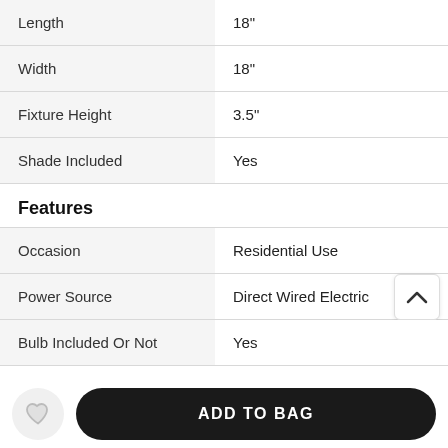| Attribute | Value |
| --- | --- |
| Length | 18" |
| Width | 18" |
| Fixture Height | 3.5" |
| Shade Included | Yes |
Features
| Attribute | Value |
| --- | --- |
| Occasion | Residential Use |
| Power Source | Direct Wired Electric |
| Bulb Included Or Not | Yes |